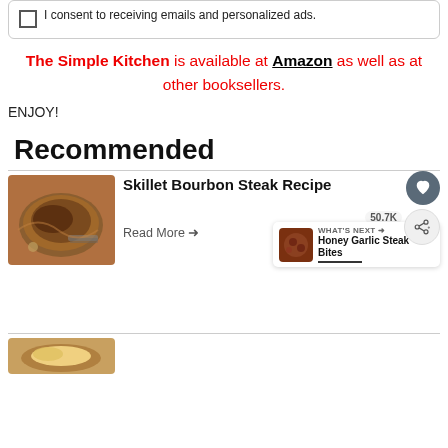I consent to receiving emails and personalized ads.
The Simple Kitchen is available at Amazon as well as at other booksellers.
ENJOY!
Recommended
[Figure (photo): Skillet Bourbon Steak Recipe - food photo of steak in skillet]
Skillet Bourbon Steak Recipe
Read More →
50.7K
WHAT'S NEXT → Honey Garlic Steak Bites
[Figure (photo): Second recipe card image at bottom]